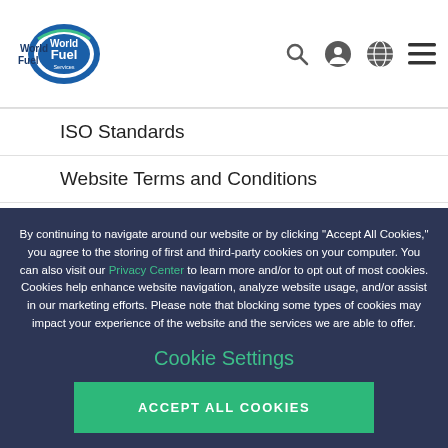[Figure (logo): World Fuel Services logo — blue oval with white text]
ISO Standards
Website Terms and Conditions
Privacy Center
Cookies Policy
Supplier Code of Conduct
By continuing to navigate around our website or by clicking “Accept All Cookies,” you agree to the storing of first and third-party cookies on your computer. You can also visit our Privacy Center to learn more and/or to opt out of most cookies. Cookies help enhance website navigation, analyze website usage, and/or assist in our marketing efforts. Please note that blocking some types of cookies may impact your experience of the website and the services we are able to offer.
Cookie Settings
ACCEPT ALL COOKIES